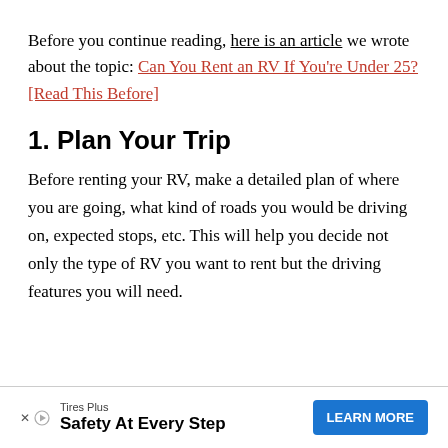Before you continue reading, here is an article we wrote about the topic: Can You Rent an RV If You're Under 25? [Read This Before]
1. Plan Your Trip
Before renting your RV, make a detailed plan of where you are going, what kind of roads you would be driving on, expected stops, etc. This will help you decide not only the type of RV you want to rent but the driving features you will need.
[Figure (other): Advertisement banner for Tires Plus with text 'Safety At Every Step' and a blue 'LEARN MORE' button]